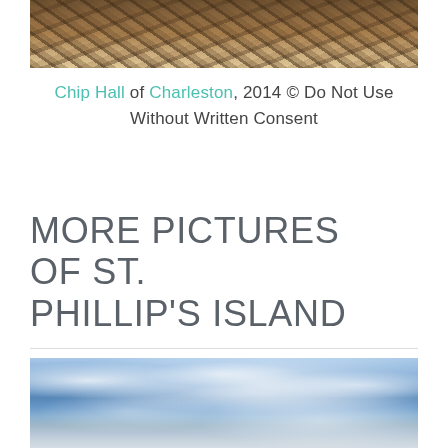[Figure (photo): Close-up photograph of driftwood logs and branches piled on a beach, showing various brown and tan tones of weathered wood]
Chip Hall of Charleston, 2014 © Do Not Use Without Written Consent
MORE PICTURES OF ST. PHILLIP'S ISLAND
[Figure (photo): Wide panoramic photograph of a blue sky with wispy cirrus clouds over what appears to be a beach or coastal area]